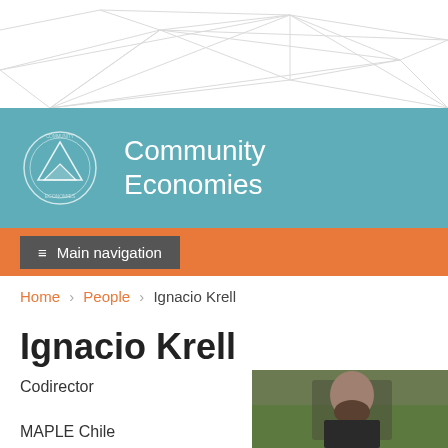[Figure (illustration): White geometric network/geodesic dome wireframe decoration on white background at top of page]
Community Economies
≡ Main navigation
Home › People › Ignacio Krell
Ignacio Krell
Codirector
MAPLE Chile
MAPLE Microdevelopment
Chile
[Figure (photo): Photograph of Ignacio Krell, a bearded man outdoors holding an object, with green grassy hillside in background]